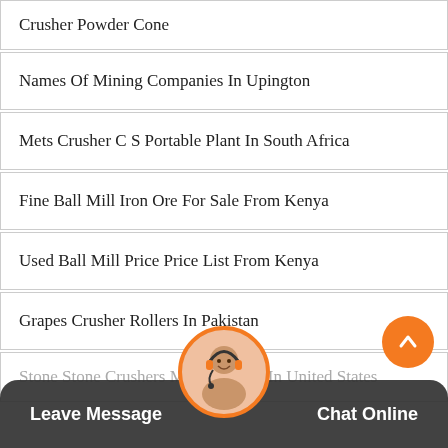Crusher Powder Cone
Names Of Mining Companies In Upington
Mets Crusher C S Portable Plant In South Africa
Fine Ball Mill Iron Ore For Sale From Kenya
Used Ball Mill Price Price List From Kenya
Grapes Crusher Rollers In Pakistan
Stone Stone Crushers Mac... Africa In United States
Leave Message   Chat Online